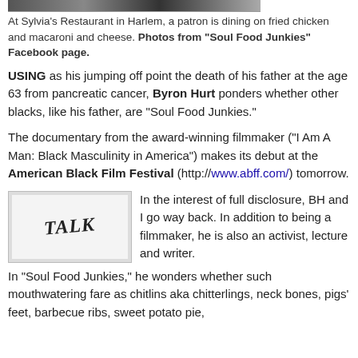[Figure (photo): Top portion of a photo showing a restaurant scene at Sylvia's Restaurant in Harlem]
At Sylvia's Restaurant in Harlem, a patron is dining on fried chicken and macaroni and cheese. Photos from "Soul Food Junkies" Facebook page.
USING as his jumping off point the death of his father at the age 63 from pancreatic cancer, Byron Hurt ponders whether other blacks, like his father, are "Soul Food Junkies."
The documentary from the award-winning filmmaker ("I Am A Man: Black Masculinity in America") makes its debut at the American Black Film Festival (http://www.abff.com/) tomorrow.
[Figure (photo): Small image showing text that reads like a title or sign with stylized lettering]
In the interest of full disclosure, BH and I go way back. In addition to being a filmmaker, he is also an activist, lecture and writer.
In "Soul Food Junkies," he wonders whether such mouthwatering fare as chitlins aka chitterlings, neck bones, pigs' feet, barbecue ribs, sweet potato pie,